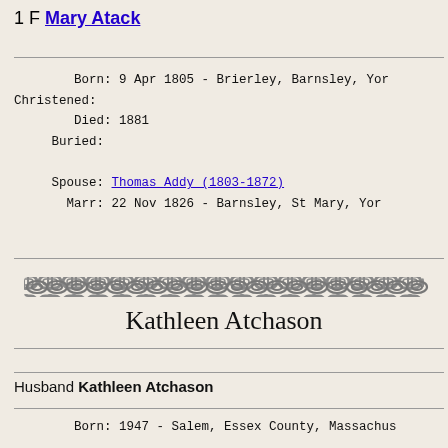1 F Mary Atack
Born: 9 Apr 1805 - Brierley, Barnsley, Yor
Christened:
Died: 1881
Buried:

Spouse: Thomas Addy (1803-1872)
Marr: 22 Nov 1826 - Barnsley, St Mary, Yor
[Figure (illustration): Decorative chain image banner]
Kathleen Atchason
Husband Kathleen Atchason
Born: 1947 - Salem, Essex County, Massachus